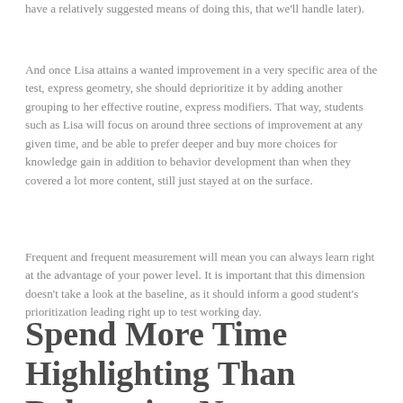have a relatively suggested means of doing this, that we'll handle later).
And once Lisa attains a wanted improvement in a very specific area of the test, express geometry, she should deprioritize it by adding another grouping to her effective routine, express modifiers. That way, students such as Lisa will focus on around three sections of improvement at any given time, and be able to prefer deeper and buy more choices for knowledge gain in addition to behavior development than when they covered a lot more content, still just stayed at on the surface.
Frequent and frequent measurement will mean you can always learn right at the advantage of your power level. It is important that this dimension doesn't take a look at the baseline, as it should inform a good student's prioritization leading right up to test working day.
Spend More Time Highlighting Than Rehearsing New Questions